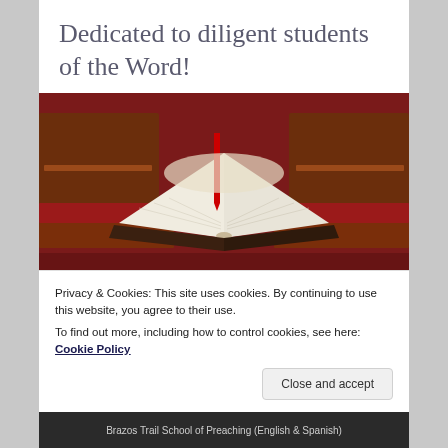Dedicated to diligent students of the Word!
[Figure (photo): Open Bible resting on a red pew in a church setting, with wooden church pews visible in the background.]
Privacy & Cookies: This site uses cookies. By continuing to use this website, you agree to their use.
To find out more, including how to control cookies, see here: Cookie Policy
Close and accept
Brazos Trail School of Preaching (English & Spanish)